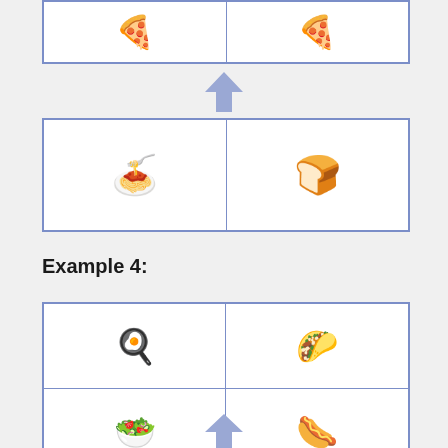[Figure (other): Two-cell grid with pizza emoji in left cell and pizza emoji in right cell]
[Figure (other): Blue downward arrow]
[Figure (other): Two-cell grid with spaghetti emoji in left cell and bread emoji in right cell]
Example 4:
[Figure (other): 2x2 grid with eggs/pancake emoji top-left, taco emoji top-right, salad emoji bottom-left, hot dog emoji bottom-right]
[Figure (other): Blue downward arrow at bottom]